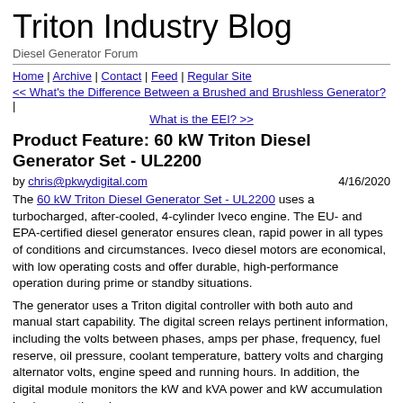Triton Industry Blog
Diesel Generator Forum
Home | Archive | Contact | Feed | Regular Site
<< What's the Difference Between a Brushed and Brushless Generator? | What is the EEI? >>
Product Feature: 60 kW Triton Diesel Generator Set - UL2200
by chris@pkwydigital.com   4/16/2020
The 60 kW Triton Diesel Generator Set - UL2200 uses a turbocharged, after-cooled, 4-cylinder Iveco engine. The EU- and EPA-certified diesel generator ensures clean, rapid power in all types of conditions and circumstances. Iveco diesel motors are economical, with low operating costs and offer durable, high-performance operation during prime or standby situations.
The generator uses a Triton digital controller with both auto and manual start capability. The digital screen relays pertinent information, including the volts between phases, amps per phase, frequency, fuel reserve, oil pressure, coolant temperature, battery volts and charging alternator volts, engine speed and running hours. In addition, the digital module monitors the kW and kVA power and kW accumulation by day, month and year.